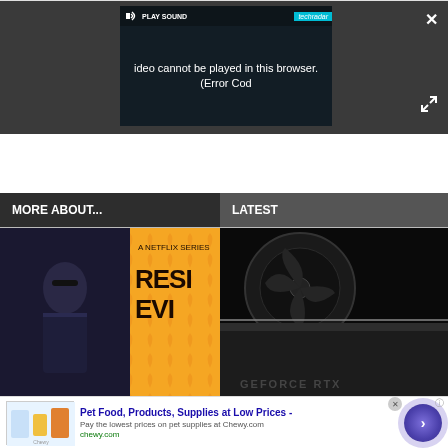[Figure (screenshot): Video player overlay on dark background showing error message 'Video cannot be played in this browser. (Error Cod' with PLAY SOUND button and TechRadar badge. Close (X) button top right, expand arrows bottom right.]
MORE ABOUT...
LATEST
[Figure (photo): Resident Evil Netflix series promotional image split with character on left and RESIDENT EVIL orange/yellow title card on right]
[Figure (photo): Close-up of NVIDIA GeForce RTX graphics card in dark lighting]
[Figure (screenshot): Advertisement banner for Chewy.com: Pet Food, Products, Supplies at Low Prices. Pay the lowest prices on pet supplies at Chewy.com]